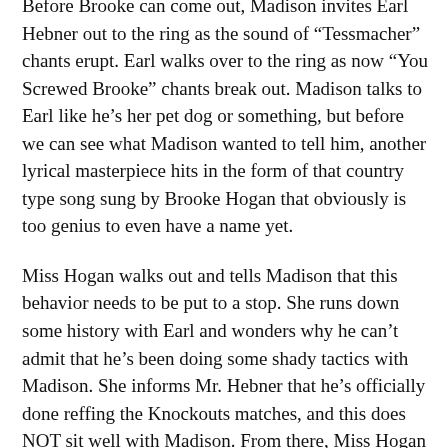Before Brooke can come out, Madison invites Earl Hebner out to the ring as the sound of “Tessmacher” chants erupt. Earl walks over to the ring as now “You Screwed Brooke” chants break out. Madison talks to Earl like he’s her pet dog or something, but before we can see what Madison wanted to tell him, another lyrical masterpiece hits in the form of that country type song sung by Brooke Hogan that obviously is too genius to even have a name yet.
Miss Hogan walks out and tells Madison that this behavior needs to be put to a stop. She runs down some history with Earl and wonders why he can’t admit that he’s been doing some shady tactics with Madison. She informs Mr. Hebner that he’s officially done reffing the Knockouts matches, and this does NOT sit well with Madison. From there, Miss Hogan reveals that Madison will face Brooke Tessmacher in a rematch for the title tonight… and not only that, there will be a special female referee for the bout!
Madison immediately chimes in and tell Brooke Hogan that